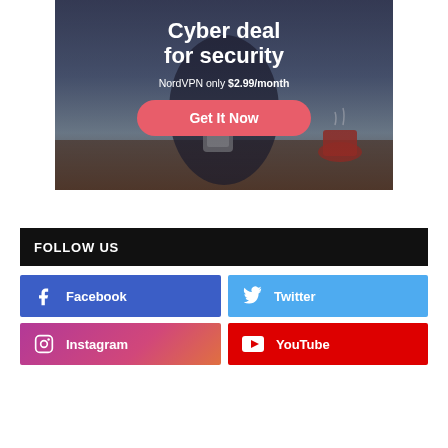[Figure (photo): NordVPN advertisement banner showing a person using a smartphone at a cafe, with text 'Cyber deal for security', 'NordVPN only $2.99/month', and a pink 'Get It Now' button]
FOLLOW US
Facebook
Twitter
Instagram
YouTube